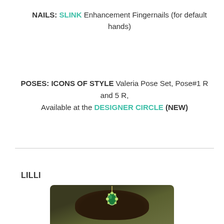NAILS: SLINK Enhancement Fingernails (for default hands)
POSES: ICONS OF STYLE Valeria Pose Set, Pose#1 R and 5 R, Available at the DESIGNER CIRCLE (NEW)
LILLI
[Figure (photo): Top of a stylized avatar head with dark upswept hair, wearing a green jeweled headpiece against a dark olive/green background. The image is cropped showing only the top portion of the head.]